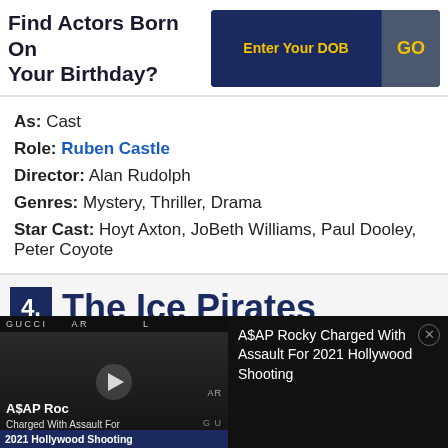Find Actors Born On Your Birthday?
As: Cast
Role: Ruben Castle
Director: Alan Rudolph
Genres: Mystery, Thriller, Drama
Star Cast: Hoyt Axton, JoBeth Williams, Paul Dooley, Peter Coyote
4. The Ice Pirates
[Figure (screenshot): Ad overlay showing A$AP Rocky news video thumbnail with text: A$AP Rocky Charged With Assault For 2021 Hollywood Shooting]